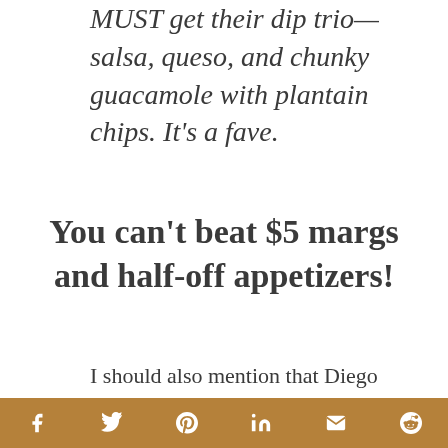MUST get their dip trio—salsa, queso, and chunky guacamole with plantain chips. It's a fave.
You can't beat $5 margs and half-off appetizers!
I should also mention that Diego Pops happens to be one of the most Instagrammable spots in Scottsdale, so if anything, go there for the gram :).
f  t  p  in  ✉  ⓢ